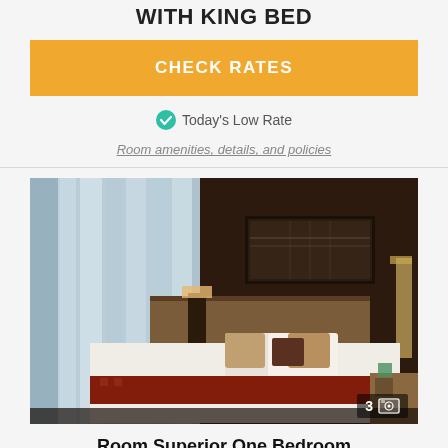WITH KING BED
CHECK RATES
Today's Low Rate
Room amenities, details, and policies
[Figure (photo): Hotel room with king bed, warm lighting, dark brown accent wall, decorative artwork above bed, sheer curtains by large window, bedside lamps, image count badge showing 3]
Room Superior One Bedroom